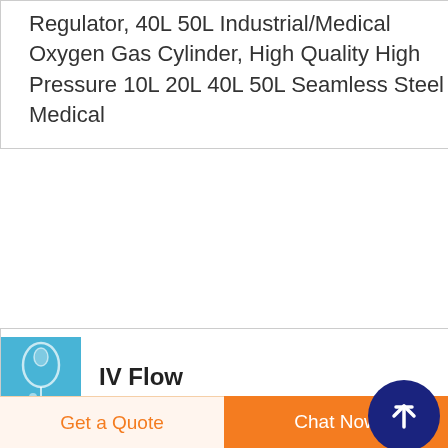Regulator, 40L 50L Industrial/Medical Oxygen Gas Cylinder, High Quality High Pressure 10L 20L 40L 50L Seamless Steel Medical
[Figure (photo): Blue thumbnail image of IV fluid/medical equipment]
IV Flow
RegulatorMedical Disposable Products
Description. I.V. Fluid Flow Regulator Extension Set to regulate the flow of IV fluid from an infusion set into an IV catheter. Super smooth kink resistance tubing ensures
Get a Quote
Chat Now